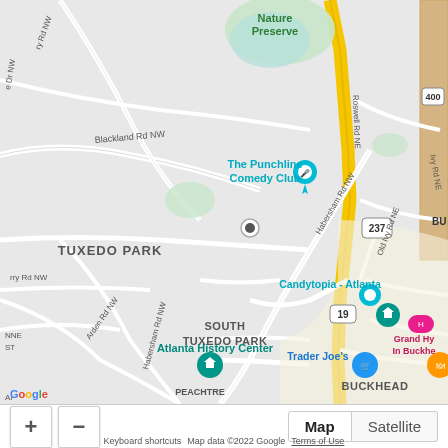[Figure (map): Google Maps view of the Buckhead/Tuxedo Park area of Atlanta, Georgia. Shows streets, neighborhoods (TUXEDO PARK, SOUTH TUXEDO PARK, BUCKHEAD, PEACHTREE HEIGHTS WEST), and landmarks including The Punchline Comedy Club, Candytopia - Atlanta, Atlanta History Center, Trader Joe's, Grand Hyatt in Buckhead. Road labels include Blackland Rd NW, Roswell Rd NE, Habersham Rd NW, Arden Rd NW, Old Ivy Rd NE. Nature Preserve is visible in the upper center. Route markers 237, 19, and 400 are shown.]
Google  Keyboard shortcuts  Map data ©2022 Google  Terms of Use